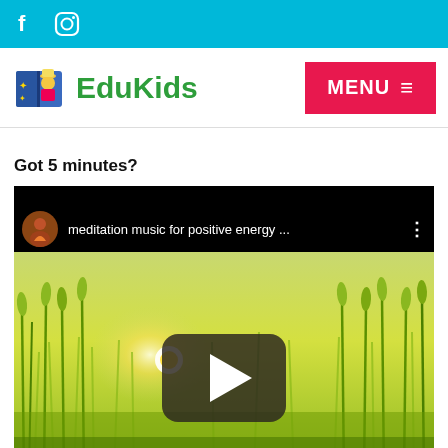f [facebook icon] [instagram icon]
[Figure (logo): EduKids logo with cartoon character and green EduKids text, plus pink MENU button]
Got 5 minutes?
[Figure (screenshot): YouTube video embed showing meditation music for positive energy with wheat field background and play button]